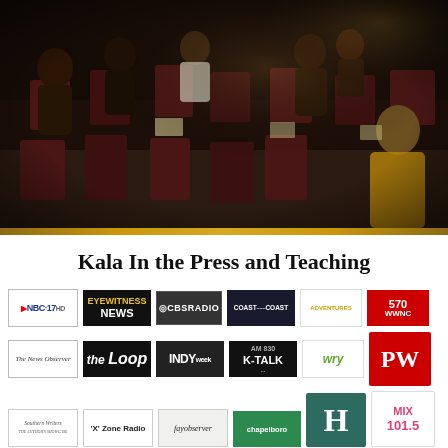[Figure (photo): Dimly lit room with people seated in dark red/maroon chairs, viewed from the front. Multiple attendees visible in a meeting or lecture setting. Dark, moody lighting with warm tones.]
Kala In the Press and Teaching
[Figure (infographic): Grid of media outlet logos: NBC-17, Eyewitness News, CBS Radio, Coast to Coast, Adventures (yellow), WWNC 570, The News Observer, The Loop, INDY week, AM 830 K-Talk, WRY (green), Publishers Weekly (red PW), Southern Writers, 'X' Zone Radio, fayobserver, chapelboro, H (teal large letter), Mix 101.5]